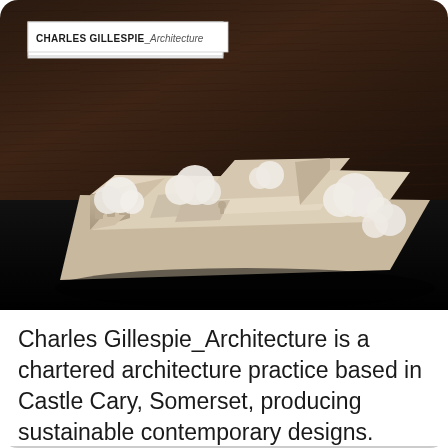[Figure (photo): Architectural scale model of a building complex with courtyard, photographed on dark background. The model appears to be 3D printed or made from beige/cream material, showing a low-rise building with multiple wings, trees (white fluffy material), and a flat site plan. A logo label reading 'CHARLES GILLESPIE_Architecture' is visible in the top-left corner of the image.]
Charles Gillespie_Architecture is a chartered architecture practice based in Castle Cary, Somerset, producing sustainable contemporary designs.